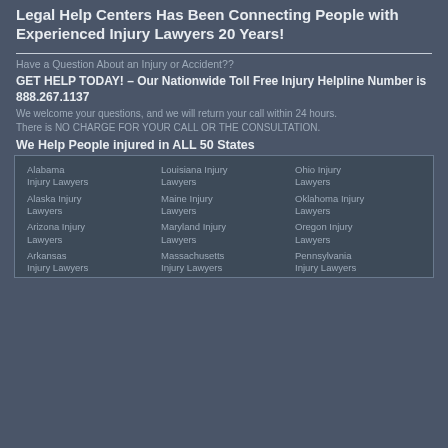Legal Help Centers Has Been Connecting People with Experienced Injury Lawyers 20 Years!
Have a Question About an Injury or Accident??
GET HELP TODAY! – Our Nationwide Toll Free Injury Helpline Number is 888.267.1137
We welcome your questions, and we will return your call within 24 hours.
There is NO CHARGE FOR YOUR CALL OR THE CONSULTATION.
We Help People injured in ALL 50 States
Alabama Injury Lawyers
Alaska Injury Lawyers
Arizona Injury Lawyers
Arkansas Injury Lawyers
Louisiana Injury Lawyers
Maine Injury Lawyers
Maryland Injury Lawyers
Massachusetts Injury Lawyers
Ohio Injury Lawyers
Oklahoma Injury Lawyers
Oregon Injury Lawyers
Pennsylvania Injury Lawyers